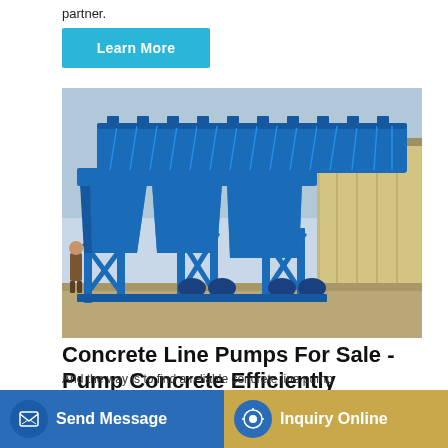partner.
Learn More
[Figure (photo): A large blue industrial concrete batching plant / aggregate feeder machine with conveyor belt on top, multiple hopper compartments supported by steel frame legs with X-bracing, parked on a dirt/concrete yard next to a shipping container. A person stands to the left for scale.]
Concrete Line Pumps For Sale - Pump Concrete Efficiently
And the way is to find a reliable concrete line pump
Send Message
Inquiry Online